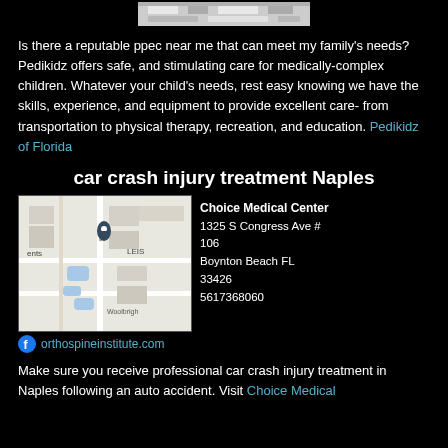[Figure (photo): Top partial image showing a map or aerial view, partially cropped]
Is there a reputable ppec near me that can meet my family's needs? Pedikidz offers safe, and stimulating care for medically-complex children. Whatever your child's needs, rest easy knowing we have the skills, experience, and equipment to provide excellent care- from transportation to physical therapy, recreation, and education. Pedikidz of Florida
car crash injury treatment Naples
[Figure (map): Google Maps screenshot showing Choice Medical Center location near S Congress Ave, Boynton Beach FL, with surrounding streets and landmarks including Woolbright]
Choice Medical Center
1325 S Congress Ave #
106
Boynton Beach FL
33426
5617368060
orthospineinstitute.com
Make sure you receive professional car crash injury treatment in Naples following an auto accident. Visit Choice Medical